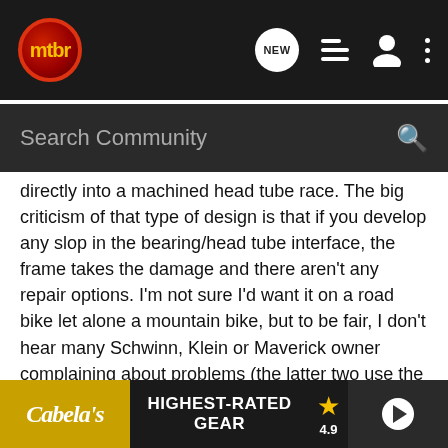mtbr navigation bar with logo, search, and icons
directly into a machined head tube race. The big criticism of that type of design is that if you develop any slop in the bearing/head tube interface, the frame takes the damage and there aren't any repair options. I'm not sure I'd want it on a road bike let alone a mountain bike, but to be fair, I don't hear many Schwinn, Klein or Maverick owner complaining about problems (the latter two use the Integrated standard).
The Zero Stack are somewhat similar in appearance and assembly, except for the addition of the removable cups. The Zero Stack really is as good as any conventional threadless design, with the possible exception as Todd mentioned of there being no Chris King option until they decide to produce their Perdido...
[Figure (screenshot): Cabela's advertisement banner: HIGHEST-RATED GEAR with star rating 4.9 and product image with play button]